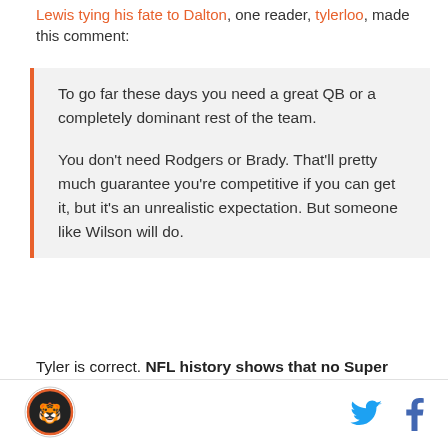Lewis tying his fate to Dalton, one reader, tylerloo, made this comment:
To go far these days you need a great QB or a completely dominant rest of the team.

You don't need Rodgers or Brady. That'll pretty much guarantee you're competitive if you can get it, but it's an unrealistic expectation. But someone like Wilson will do.
Tyler is correct. NFL history shows that no Super Bowl has ever been won without either a high-performing playoff QB, or an excellent supporting cast. If a team doesn't have both, then at least one is required.
[Logo] [Twitter] [Facebook]